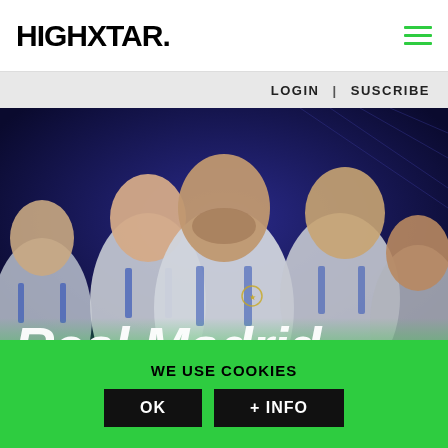HIGHXTAR.
LOGIN | SUSCRIBE
[Figure (photo): Five Real Madrid football players in white and blue Adidas kits celebrating, with 'Real Madrid Virtual World' text overlay on a dark blue background.]
WE USE COOKIES
OK
+ INFO